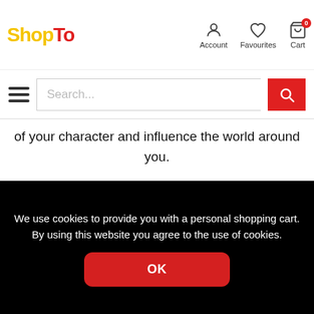ShopTo - Account, Favourites, Cart
of your character and influence the world around you. With every choice you make, from political alliances and combat strategy to dialogue and gear progression, you will carve your own path to glory.
GROW YOUR SETTLEMENT
Construct and upgrade buildings that allow for deep customization, including a barracks, blacksmith, tattoo
We use cookies to provide you with a personal shopping cart. By using this website you agree to the use of cookies.